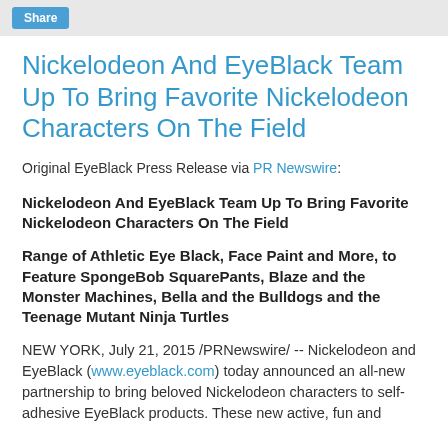Share
Nickelodeon And EyeBlack Team Up To Bring Favorite Nickelodeon Characters On The Field
Original EyeBlack Press Release via PR Newswire:
Nickelodeon And EyeBlack Team Up To Bring Favorite Nickelodeon Characters On The Field
Range of Athletic Eye Black, Face Paint and More, to Feature SpongeBob SquarePants, Blaze and the Monster Machines, Bella and the Bulldogs and the Teenage Mutant Ninja Turtles
NEW YORK, July 21, 2015 /PRNewswire/ -- Nickelodeon and EyeBlack (www.eyeblack.com) today announced an all-new partnership to bring beloved Nickelodeon characters to self-adhesive EyeBlack products. These new active, fun and